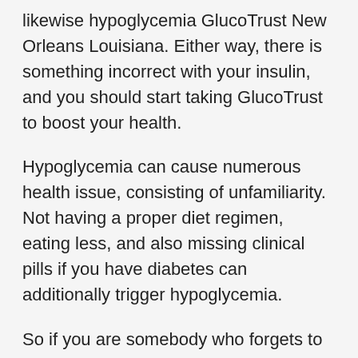likewise hypoglycemia GlucoTrust New Orleans Louisiana. Either way, there is something incorrect with your insulin, and you should start taking GlucoTrust to boost your health.
Hypoglycemia can cause numerous health issue, consisting of unfamiliarity. Not having a proper diet regimen, eating less, and also missing clinical pills if you have diabetes can additionally trigger hypoglycemia.
So if you are somebody who forgets to take their diabetic person tablets or is eating less than common, you should take into consideration using GlucoTrust. Consuming GlucoTrust will advertise healthy blood flow, lower yearnings for sugar, as well as give top quality rest.